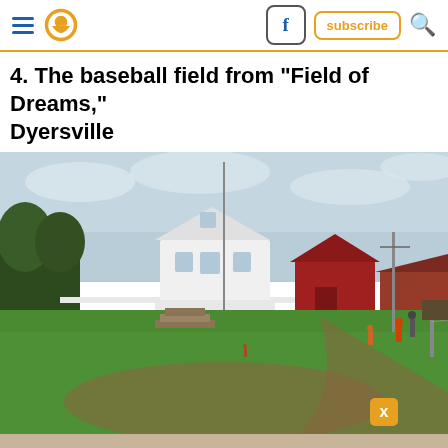Navigation header with hamburger menu, location pin icon, Facebook button, subscribe button, search icon
4. The baseball field from "Field of Dreams," Dyersville
[Figure (photo): Photograph of the Field of Dreams baseball field in Dyersville, Iowa. Shows a green grass baseball diamond with a white farmhouse and red barn in the background, people standing near the baselines, a flagpole, and a dirt base path curving through the outfield. Foreground shows dirt infield area with a base/home plate visible.]